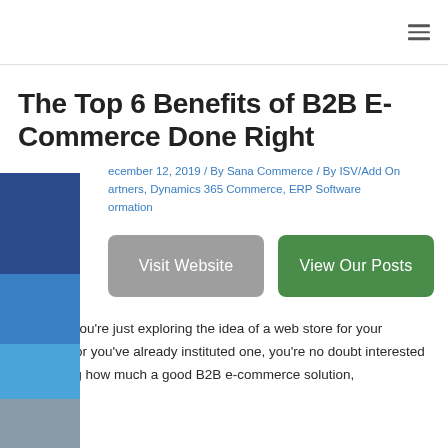The Top 6 Benefits of B2B E-Commerce Done Right
December 12, 2019 / By Sana Commerce / By ISV/Add On Partners, Dynamics 365 Commerce, ERP Software Information
Visit Website | View Our Posts
Whether you’re just exploring the idea of a web store for your business or you’ve already instituted one, you’re no doubt interested in knowing how much a good B2B e-commerce solution,